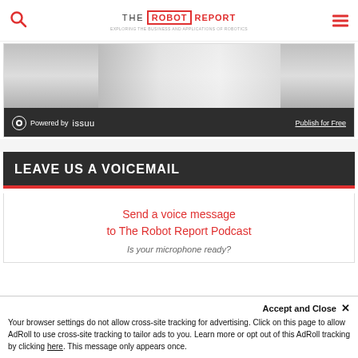THE ROBOT REPORT — Exploring the business and applications of robotics
[Figure (screenshot): Issuu embedded document viewer with Powered by issuu bar and Publish for Free link]
LEAVE US A VOICEMAIL
Send a voice message to The Robot Report Podcast
Is your microphone ready?
Your browser settings do not allow cross-site tracking for advertising. Click on this page to allow AdRoll to use cross-site tracking to tailor ads to you. Learn more or opt out of this AdRoll tracking by clicking here. This message only appears once.